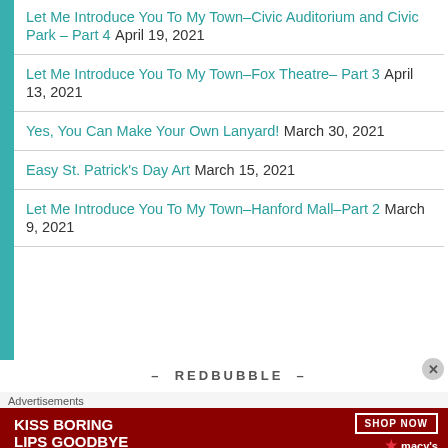Let Me Introduce You To My Town–Civic Auditorium and Civic Park – Part 4 April 19, 2021
Let Me Introduce You To My Town–Fox Theatre– Part 3 April 13, 2021
Yes, You Can Make Your Own Lanyard! March 30, 2021
Easy St. Patrick's Day Art March 15, 2021
Let Me Introduce You To My Town–Hanford Mall–Part 2 March 9, 2021
— REDBUBBLE —
Advertisements
[Figure (other): Macy's advertisement banner: KISS BORING LIPS GOODBYE with SHOP NOW button and Macy's star logo, dark red background with woman's face]